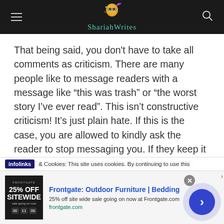ShariaWrites
That being said, you don't have to take all comments as criticism. There are many people like to message readers with a message like “this was trash” or “the worst story I’ve ever read”. This isn’t constructive criticism! It’s just plain hate. If this is the case, you are allowed to kindly ask the reader to stop messaging you. If they keep it up, this would be considered harassment. You don’t need to deal with any hate that you don’t want to see! No matter
& Cookies: This site uses cookies. By continuing to use this
[Figure (screenshot): Advertisement banner for Frontgate: Outdoor Furniture | Bedding. Shows 25% off sitewide sale with image of product and countdown timer. URL: frontgate.com]